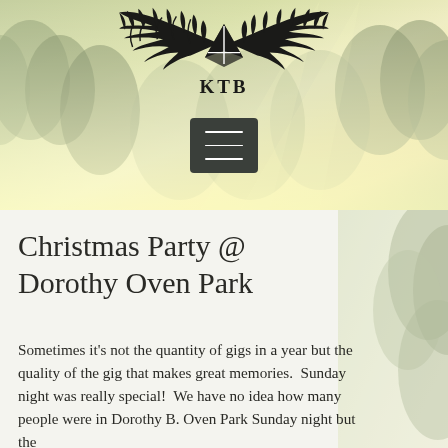[Figure (logo): KTB logo with stylized wings (black bird wings with a triangular/chevron shape in the center) and the letters KTB below the emblem, set against a misty forest background]
[Figure (screenshot): Dark grey hamburger menu button (three horizontal lines icon) on a misty forest background]
Christmas Party @ Dorothy Oven Park
Sometimes it's not the quantity of gigs in a year but the quality of the gig that makes great memories.  Sunday night was really special!  We have no idea how many people were in Dorothy B. Oven Park Sunday night but the